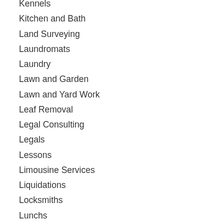Kennels
Kitchen and Bath
Land Surveying
Laundromats
Laundry
Lawn and Garden
Lawn and Yard Work
Leaf Removal
Legal Consulting
Legals
Lessons
Limousine Services
Liquidations
Locksmiths
Lunchs